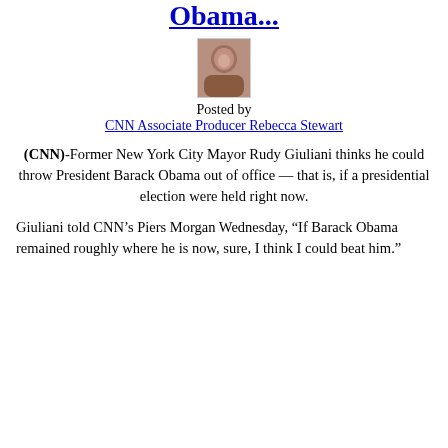Obama...
[Figure (photo): Headshot photo of CNN Associate Producer Rebecca Stewart]
Posted by
CNN Associate Producer Rebecca Stewart
(CNN)-Former New York City Mayor Rudy Giuliani thinks he could throw President Barack Obama out of office — that is, if a presidential election were held right now.
Giuliani told CNN’s Piers Morgan Wednesday, “If Barack Obama remained roughly where he is now, sure, I think I could beat him.”